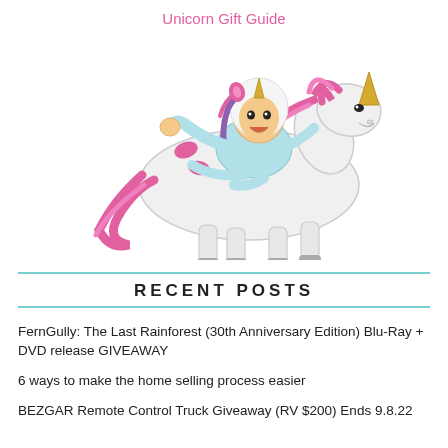Unicorn Gift Guide
[Figure (illustration): Cartoon bitmoji illustration of a person in a unicorn onesie costume riding a white unicorn horse with pink mane and tail, flying through the air. The rider has a human face showing through the unicorn hood, wearing a light blue onesie with pink accents. The unicorn has a gold horn, pink mane and tail, and gray hooves.]
RECENT POSTS
FernGully: The Last Rainforest (30th Anniversary Edition) Blu-Ray + DVD release GIVEAWAY
6 ways to make the home selling process easier
BEZGAR Remote Control Truck Giveaway (RV $200) Ends 9.8.22